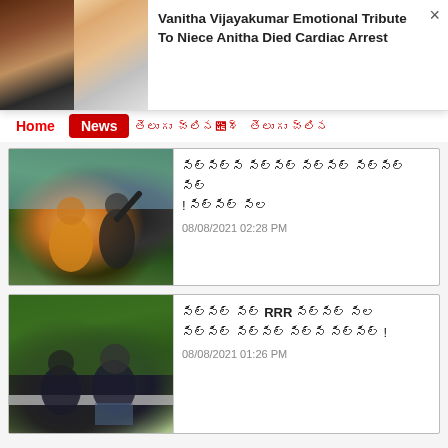[Figure (screenshot): Website notification popup with two thumbnail images on the left showing women's faces, and article title text on the right. Close button (×) in top right corner.]
Vanitha Vijayakumar Emotional Tribute To Niece Anitha Died Cardiac Arrest
Home  News  [Telugu text]  [Telugu text]
[Figure (photo): Photo of a couple at a scenic overlook, man in yellow shirt with his back to camera, woman in black with arm raised pointing at mountains]
[Telugu headline text] ! [Telugu text]
08/08/2021 02:28 PM
[Figure (photo): Photo of two men sitting on a railing outdoors with green trees in background, both wearing black clothing]
[Telugu text] RRR [Telugu text] !
08/08/2021 01:26 PM